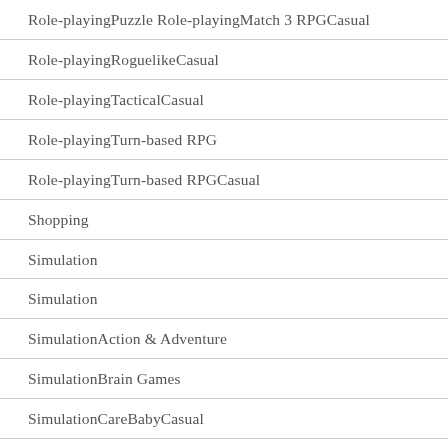Role-playingPuzzle Role-playingMatch 3 RPGCasual
Role-playingRoguelikeCasual
Role-playingTacticalCasual
Role-playingTurn-based RPG
Role-playingTurn-based RPGCasual
Shopping
Simulation
Simulation
SimulationAction & Adventure
SimulationBrain Games
SimulationCareBabyCasual